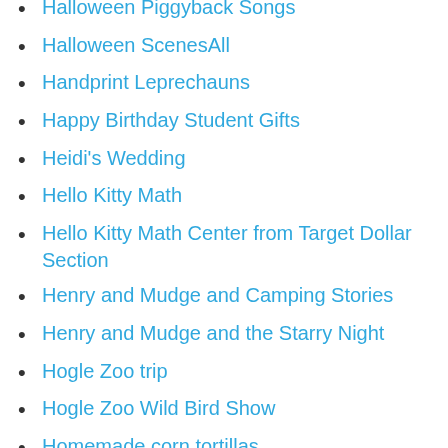Halloween Piggyback Songs
Halloween ScenesAll
Handprint Leprechauns
Happy Birthday Student Gifts
Heidi's Wedding
Hello Kitty Math
Hello Kitty Math Center from Target Dollar Section
Henry and Mudge and Camping Stories
Henry and Mudge and the Starry Night
Hogle Zoo trip
Hogle Zoo Wild Bird Show
Homemade corn tortillas
How the Moon Regained Her Shape
How To Writing
Hungry Caterpillar